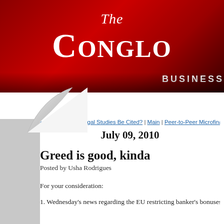[Figure (logo): The Conglomerate blog header banner with red gradient background, showing 'The' in italic and 'CONGLOMERATE' in large serif font, with 'BUSINESS' subtitle in white]
« Will Empirical Legal Studies Be Cited? | Main | Peer-to-Peer Microfinancing for the Arb
July 09, 2010
Greed is good, kinda
Posted by Usha Rodrigues
For your consideration:
1. Wednesday's news regarding the EU restricting banker's bonuses. Quoting fro